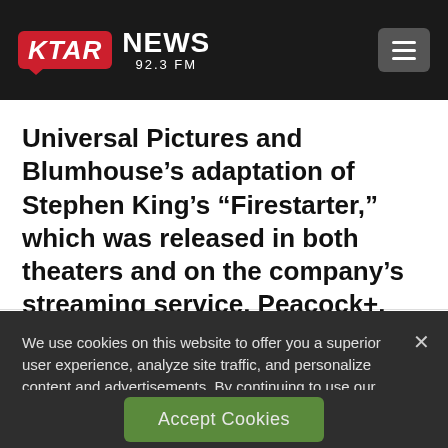KTAR NEWS 92.3 FM
Universal Pictures and Blumhouse’s adaptation of Stephen King’s “Firestarter,” which was released in both theaters and on the company’s streaming service, Peacock+.
We use cookies on this website to offer you a superior user experience, analyze site traffic, and personalize content and advertisements. By continuing to use our site, you consent to our use of cookies. Please visit our Privacy Policy for more information.
Accept Cookies